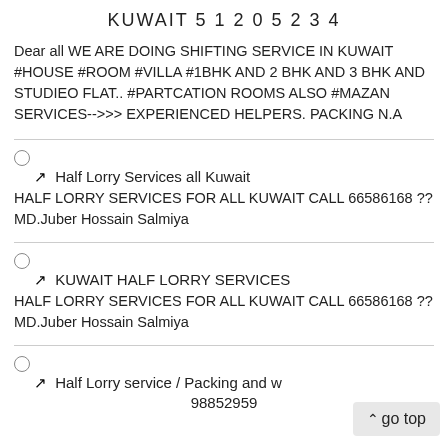KUWAIT 5 1 2 0 5 2 3 4
Dear all WE ARE DOING SHIFTING SERVICE IN KUWAIT #HOUSE #ROOM #VILLA #1BHK AND 2 BHK AND 3 BHK AND STUDIEO FLAT.. #PARTCATION ROOMS ALSO #MAZAN SERVICES-->>> EXPERIENCED HELPERS. PACKING N.A
Half Lorry Services all Kuwait
HALF LORRY SERVICES FOR ALL KUWAIT CALL 66586168 ?? MD.Juber Hossain Salmiya
KUWAIT HALF LORRY SERVICES
HALF LORRY SERVICES FOR ALL KUWAIT CALL 66586168 ?? MD.Juber Hossain Salmiya
Half Lorry service / Packing and w 98852959